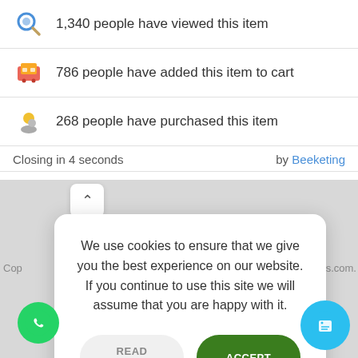1,340 people have viewed this item
786 people have added this item to cart
268 people have purchased this item
Closing in 4 seconds   by Beeketing
We use cookies to ensure that we give you the best experience on our website. If you continue to use this site we will assume that you are happy with it.
READ MORE
ACCEPT
Cop
Websoles.com.